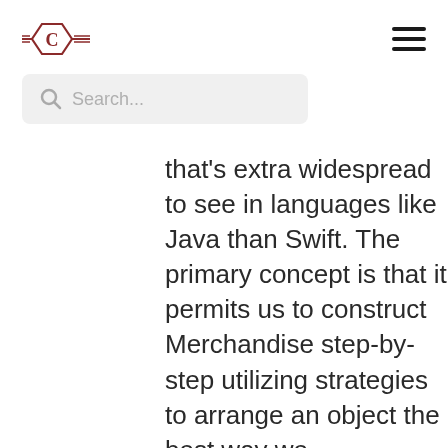[Logo: C hexagon icon] [Hamburger menu icon]
[Figure (other): Search bar with magnifying glass icon and placeholder text 'Search...']
that's extra widespread to see in languages like Java than Swift. The primary concept is that it permits us to construct Merchandise step-by-step utilizing strategies to arrange an object the best way we